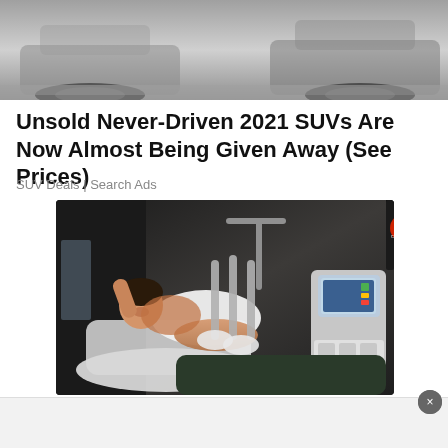[Figure (photo): Top portion of a car advertisement image showing the front of SUVs in a parking area, cropped at the top]
Unsold Never-Driven 2021 SUVs Are Now Almost Being Given Away (See Prices)
SUV Deals | Search Ads
[Figure (photo): Woman smiling and relaxing in a body contouring treatment chair with multiple applicator devices applied to her midsection. A medical/beauty device with a tablet screen is visible to the right. In the background is a display showing '25 Body Contouring'.]
[Figure (other): White advertisement banner at the bottom of the page, partially visible]